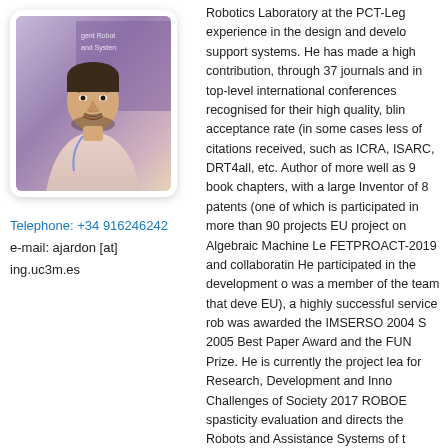[Figure (photo): Portrait photo of a man at a conference with 'Intelligent Robot and Systems' banner visible in the background, Madrid, October 1-5]
Telephone: +34 916246242
e-mail: ajardon [at] ing.uc3m.es
Robotics Laboratory at the PCT-Leg experience in the design and development of support systems. He has made a high contribution, through 37 journals and in top-level international conferences recognised for their high quality, blind acceptance rate (in some cases less of citations received, such as ICRA, ISARC, DRT4all, etc. Author of more well as 9 book chapters, with a large Inventor of 8 patents (one of which is participated in more than 90 projects EU project on Algebraic Machine Learning FETPROACT-2019 and collaborating He participated in the development of was a member of the team that developed EU), a highly successful service robot was awarded the IMSERSO 2004 Social 2005 Best Paper Award and the FUN Prize. He is currently the project lead for Research, Development and Innovation Challenges of Society 2017 ROBOE spasticity evaluation and directs the Robots and Assistance Systems of the leading the development of the Serious Programme for Rehabilitation and D